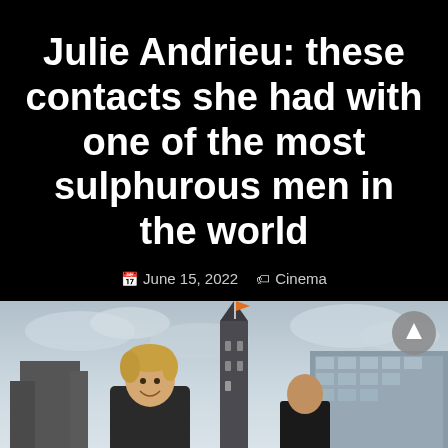Julie Andrieu: these contacts she had with one of the most sulphurous men in the world
June 15, 2022  Cinema
[Figure (photo): Photo of a smiling blonde woman outdoors with a historic building/tower and cloudy sky in the background. A circular scroll-up button is visible in the top-right corner of the image.]